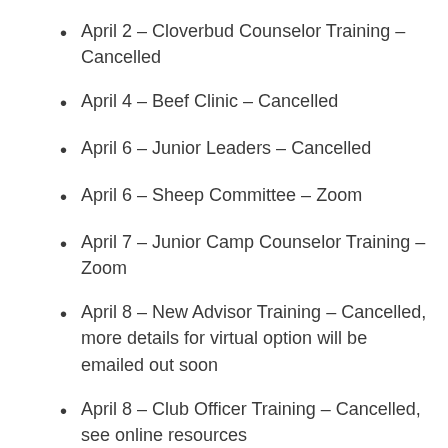April 2 – Cloverbud Counselor Training – Cancelled
April 4 – Beef Clinic – Cancelled
April 6 – Junior Leaders – Cancelled
April 6 – Sheep Committee – Zoom
April 7 – Junior Camp Counselor Training – Zoom
April 8 – New Advisor Training – Cancelled, more details for virtual option will be emailed out soon
April 8 – Club Officer Training – Cancelled, see online resources
April 13 – Jr. Fair Board Officers –